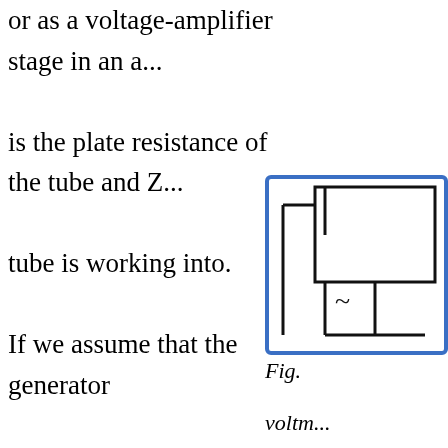or as a voltage-amplifier stage in an a... is the plate resistance of the tube and Z... tube is working into. If we assume that the generator is a pentode voltage amplifier and that Z_i is, therefore, of the order of 0.5 megohm and that Z_L is in the vicinity of 0.3 megohm, we will have a...
[Figure (schematic): Circuit schematic showing a voltage source with AC symbol inside a rectangular box with component connections. Part of a pentode voltage amplifier circuit diagram.]
Fig. ... voltm...